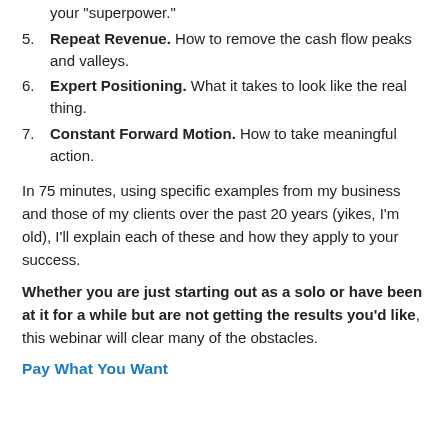your "superpower."
5. Repeat Revenue. How to remove the cash flow peaks and valleys.
6. Expert Positioning. What it takes to look like the real thing.
7. Constant Forward Motion. How to take meaningful action.
In 75 minutes, using specific examples from my business and those of my clients over the past 20 years (yikes, I'm old), I'll explain each of these and how they apply to your success.
Whether you are just starting out as a solo or have been at it for a while but are not getting the results you'd like, this webinar will clear many of the obstacles.
Pay What You Want